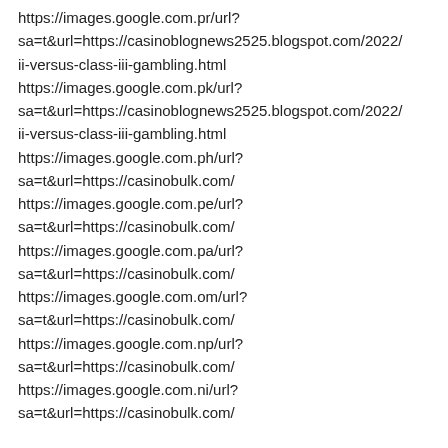https://images.google.com.pr/url?sa=t&url=https://casinoblognews2525.blogspot.com/2022/ii-versus-class-iii-gambling.html
https://images.google.com.pk/url?sa=t&url=https://casinoblognews2525.blogspot.com/2022/ii-versus-class-iii-gambling.html
https://images.google.com.ph/url?sa=t&url=https://casinobulk.com/
https://images.google.com.pe/url?sa=t&url=https://casinobulk.com/
https://images.google.com.pa/url?sa=t&url=https://casinobulk.com/
https://images.google.com.om/url?sa=t&url=https://casinobulk.com/
https://images.google.com.np/url?sa=t&url=https://casinobulk.com/
https://images.google.com.ni/url?sa=t&url=https://casinobulk.com/